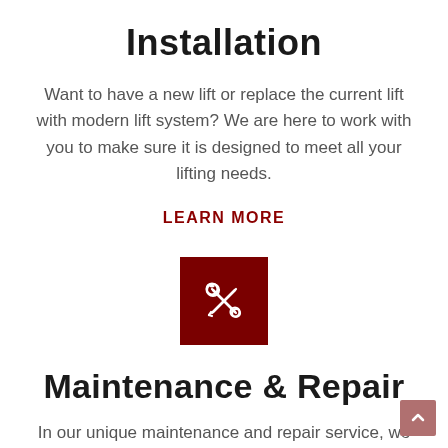Installation
Want to have a new lift or replace the current lift with modern lift system? We are here to work with you to make sure it is designed to meet all your lifting needs.
LEARN MORE
[Figure (illustration): Dark red square icon with crossed wrench and screwdriver tools]
Maintenance & Repair
In our unique maintenance and repair service, we offer annual maintenance service package in which we get your lifts repaired by our highly experienced technical team in a